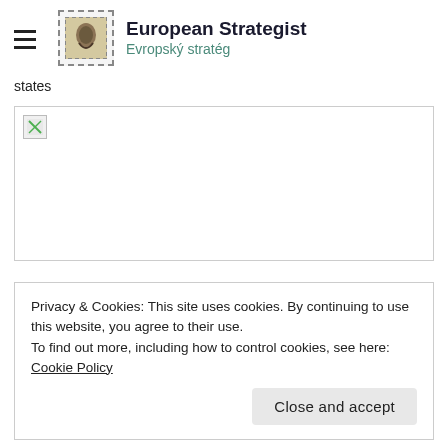European Strategist / Evropský stratég
states
[Figure (photo): Broken/unloaded image placeholder in a bordered box]
Privacy & Cookies: This site uses cookies. By continuing to use this website, you agree to their use.
To find out more, including how to control cookies, see here:
Cookie Policy
Close and accept